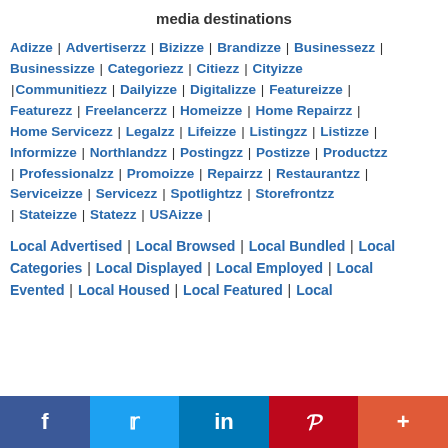media destinations
Adizze | Advertiserzz | Bizizze | Brandizze | Businessezz | Businessizze | Categoriezz | Citiezz | Cityizze | Communitiezz | Dailyizze | Digitalizze | Featureizze | Featurezz | Freelancerzz | Homeizze | Home Repairzz | Home Servicezz | Legalzz | Lifeizze | Listingzz | Listizze | Informizze | Northlandzz | Postingzz | Postizze | Productzz | Professionalzz | Promoizze | Repairzz | Restaurantzz | Serviceizze | Servicezz | Spotlightzz | Storefrontzz | Stateizze | Statezz | USAizze
Local Advertised | Local Browsed | Local Bundled | Local Categories | Local Displayed | Local Employed | Local Evented | Local Housed | Local Featured | Local
f  t  in  P  +